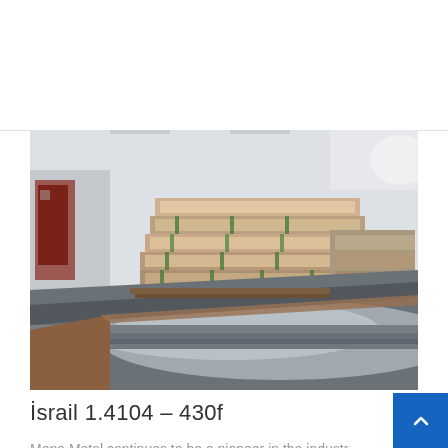[Figure (photo): Warehouse interior showing stacks of wrapped stainless steel sheets/plates on pallets. In the foreground, a shiny reflective stainless steel sheet is visible. Background shows more bundled metal sheets and warehouse space.]
İsrail 1.4104 – 430f
Mepa Metal continues to be a pioneer in the industr and to follow innovations. Stainless steel, İsrail 1.4104 –